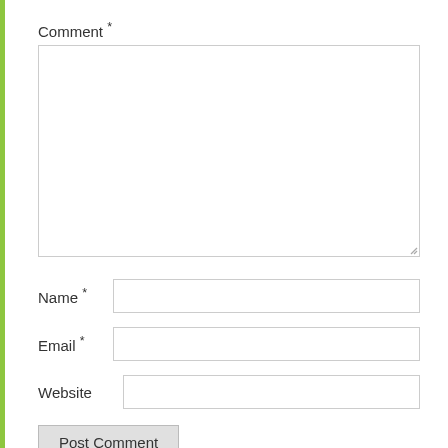Comment *
[Figure (screenshot): Large empty comment textarea with resize handle at bottom-right corner]
Name *
Email *
Website
Post Comment